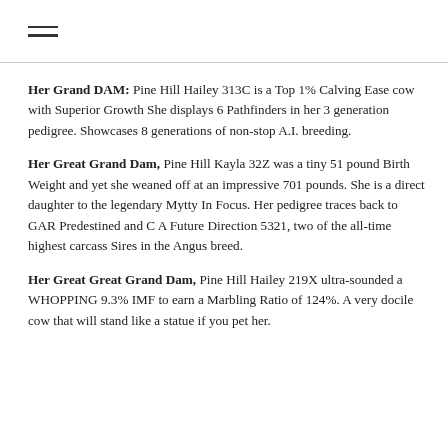≡
Her Grand DAM: Pine Hill Hailey 313C is a Top 1% Calving Ease cow with Superior Growth She displays 6 Pathfinders in her 3 generation pedigree. Showcases 8 generations of non-stop A.I. breeding.
Her Great Grand Dam, Pine Hill Kayla 32Z was a tiny 51 pound Birth Weight and yet she weaned off at an impressive 701 pounds. She is a direct daughter to the legendary Mytty In Focus. Her pedigree traces back to GAR Predestined and C A Future Direction 5321, two of the all-time highest carcass Sires in the Angus breed.
Her Great Great Grand Dam, Pine Hill Hailey 219X ultra-sounded a WHOPPING 9.3% IMF to earn a Marbling Ratio of 124%. A very docile cow that will stand like a statue if you pet her.